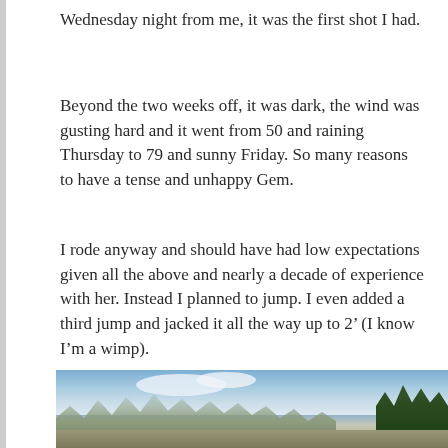Wednesday night from me, it was the first shot I had.
Beyond the two weeks off, it was dark, the wind was gusting hard and it went from 50 and raining Thursday to 79 and sunny Friday. So many reasons to have a tense and unhappy Gem.
I rode anyway and should have had low expectations given all the above and nearly a decade of experience with her. Instead I planned to jump. I even added a third jump and jacked it all the way up to 2’ (I know I’m a wimp).
[Figure (photo): Outdoor photo showing bare deciduous trees and evergreen trees against a blue sky with clouds, with ground visible at the bottom.]